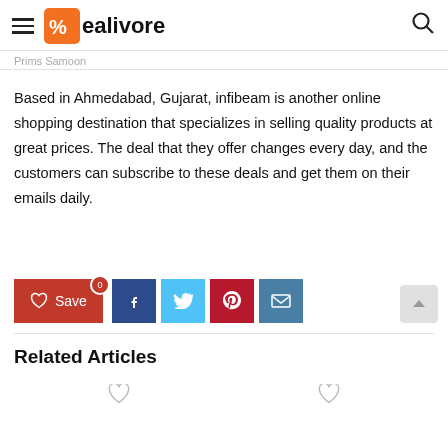Dealivore
Prims Samoon
Based in Ahmedabad, Gujarat, infibeam is another online shopping destination that specializes in selling quality products at great prices. The deal that they offer changes every day, and the customers can subscribe to these deals and get them on their emails daily.
Related Articles